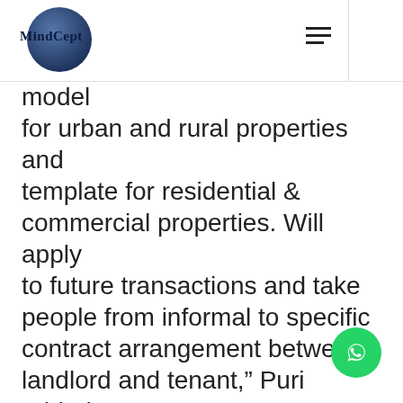MindCept
model for urban and rural properties and template for residential & commercial properties. Will apply to future transactions and take people from informal to specific contract arrangement between landlord and tenant," Puri added.
The Centre had proposed a “model tenancy law” in 2019 under which the landowner would give a notice in writing three months before revising rent. Moreover, security deposit to be paid by the tenant in advance be a maximum of two months’ rent,